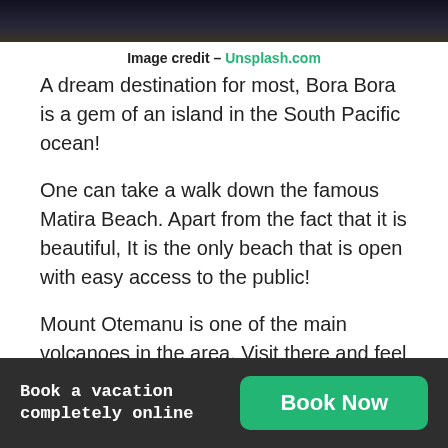[Figure (photo): Dark image strip at top of page showing a night or dark scene]
Image credit – Unsplash.com
A dream destination for most, Bora Bora is a gem of an island in the South Pacific ocean!
One can take a walk down the famous Matira Beach. Apart from the fact that it is beautiful, It is the only beach that is open with easy access to the public!
Mount Otemanu is one of the main volcanoes in the area. Visit there and feel the warmth of the surroundings! The best place has to be the breathtaking Coral Gardens. One has to get to the
Book a vacation completely online